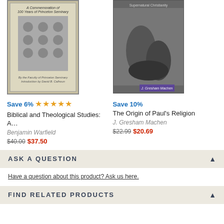[Figure (photo): Book cover: Biblical and Theological Studies: A Commemoration of 100 Years of Princeton Seminary, by the Faculty of Princeton Seminary, Introduction by David B. Calhoun]
[Figure (photo): Book cover: The Origin of Paul's Religion / Supernatural Christianity by J. Gresham Machen, with dramatic artwork of figures in a cave]
Save 6%
[Figure (other): Five gold stars rating]
Biblical and Theological Studies: A…
Benjamin Warfield
$40.00  $37.50
Save 10%
The Origin of Paul's Religion
J. Gresham Machen
$22.99  $20.69
ASK A QUESTION
Have a question about this product? Ask us here.
FIND RELATED PRODUCTS